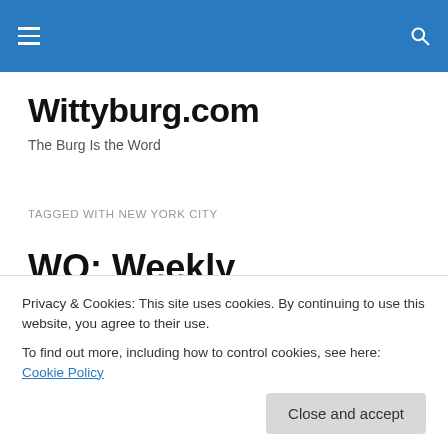Wittyburg.com
Wittyburg.com
The Burg Is the Word
TAGGED WITH NEW YORK CITY
WO: Weekly Obsessions
This week's obsessions are brought to you live from New...
Privacy & Cookies: This site uses cookies. By continuing to use this website, you agree to their use.
To find out more, including how to control cookies, see here: Cookie Policy